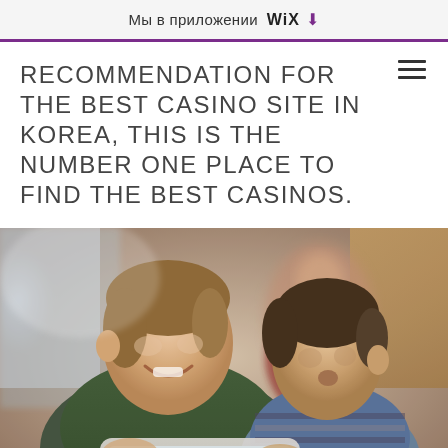Мы в приложении WiX ⬇
RECOMMENDATION FOR THE BEST CASINO SITE IN KOREA, THIS IS THE NUMBER ONE PLACE TO FIND THE BEST CASINOS.
[Figure (photo): Three teenage boys looking at a tablet together and laughing, photographed indoors]